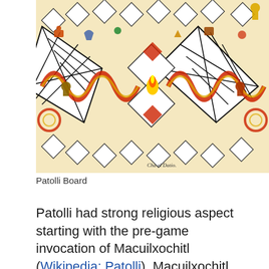[Figure (illustration): Colorful illustration of a Patolli board game from an Aztec codex, showing a cross/X-shaped game board with decorated squares containing various Aztec symbols, figures, and imagery. The board features red, yellow, green, and black colors with serpentine borders.]
Patolli Board
Patolli had strong religious aspect starting with the pre-game invocation of Macuilxochitl (Wikipedia: Patolli). Macuilxochitl, deity of music, dance, gambling and games, called God of the Five Flowers, and was the patron god of Patolli. Another name for Macuilxochitl was Xochipilli (Ancient Aztec games). Players offered inscriptions as prayer before to Macuilxochitl